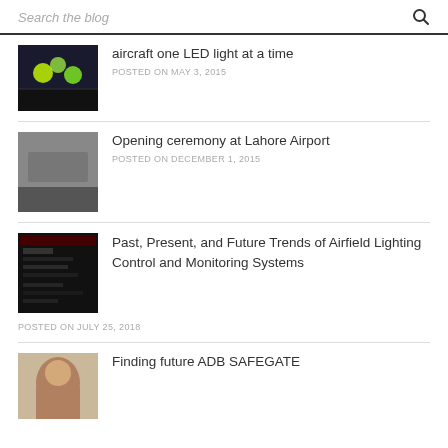Search the blog
aircraft one LED light at a time
POSTED ON MAY 3, 2015
Opening ceremony at Lahore Airport
POSTED ON DECEMBER 1, 2015
Past, Present, and Future Trends of Airfield Lighting Control and Monitoring Systems
POSTED ON JULY 25, 2018
Finding future ADB SAFEGATE